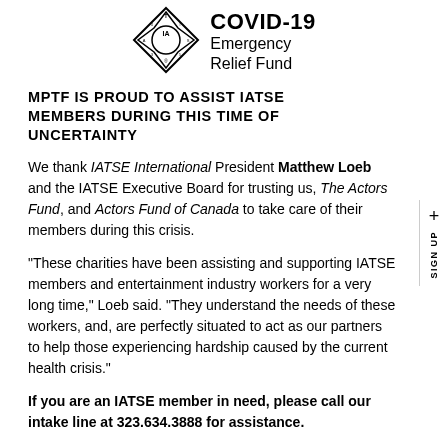[Figure (logo): IATSE union logo (star/diamond shape with 'IA' text) alongside COVID-19 Emergency Relief Fund text]
MPTF IS PROUD TO ASSIST IATSE MEMBERS DURING THIS TIME OF UNCERTAINTY
We thank IATSE International President Matthew Loeb and the IATSE Executive Board for trusting us, The Actors Fund, and Actors Fund of Canada to take care of their members during this crisis.
“These charities have been assisting and supporting IATSE members and entertainment industry workers for a very long time,” Loeb said. “They understand the needs of these workers, and, are perfectly situated to act as our partners to help those experiencing hardship caused by the current health crisis.”
If you are an IATSE member in need, please call our intake line at 323.634.3888 for assistance.